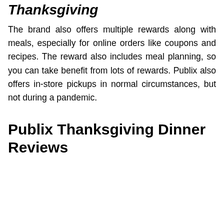Thanksgiving
The brand also offers multiple rewards along with meals, especially for online orders like coupons and recipes. The reward also includes meal planning, so you can take benefit from lots of rewards. Publix also offers in-store pickups in normal circumstances, but not during a pandemic.
Publix Thanksgiving Dinner Reviews